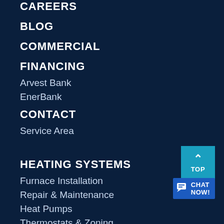CAREERS
BLOG
COMMERCIAL
FINANCING
Arvest Bank
EnerBank
CONTACT
Service Area
HEATING SYSTEMS
Furnace Installation
Repair & Maintenance
Heat Pumps
Thermostats & Zoning
[Figure (infographic): TOP scroll-to-top button (teal square with up arrow and TOP label) and CHAT NOW! button (blue with chat icon)]